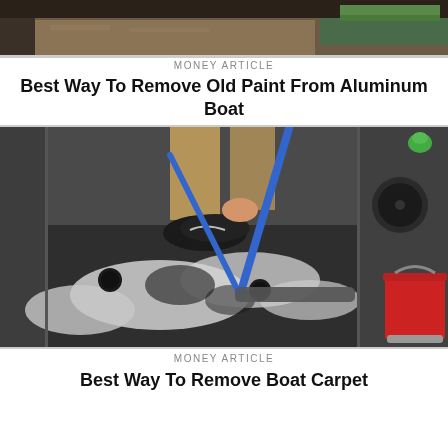[Figure (photo): Partial top photo of an aluminum boat with tools visible, cropped]
MONEY ARTICLE
Best Way To Remove Old Paint From Aluminum Boat
[Figure (photo): Person using a mop/scrub brush with a long blue handle to clean a dark boat carpet, with soapy foam visible and a red bucket on the right side]
MONEY ARTICLE
Best Way To Remove Boat Carpet